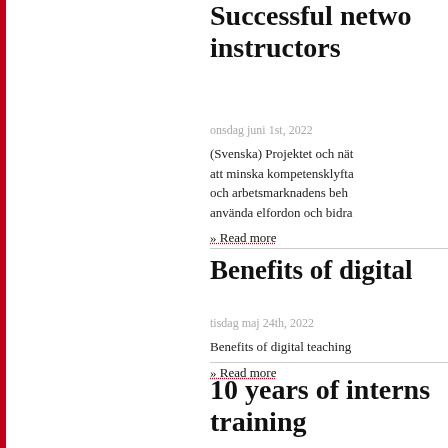Successful network instructors
onsdag juni 1st, 2022
(Svenska) Projektet och nät att minska kompetensklyfta och arbetsmarknadens beh använda elfordon och bidra
» Read more
Benefits of digital
tisdag maj 24th, 2022
Benefits of digital teaching
» Read more
10 years of interns training